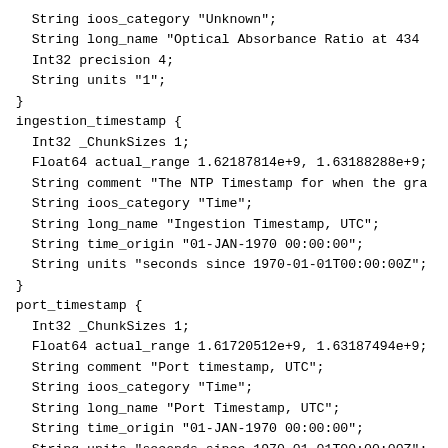String ioos_category "Unknown";
    String long_name "Optical Absorbance Ratio at 434
    Int32 precision 4;
    String units "1";
}
ingestion_timestamp {
    Int32 _ChunkSizes 1;
    Float64 actual_range 1.62187814e+9, 1.63188288e+9;
    String comment "The NTP Timestamp for when the gra
    String ioos_category "Time";
    String long_name "Ingestion Timestamp, UTC";
    String time_origin "01-JAN-1970 00:00:00";
    String units "seconds since 1970-01-01T00:00:00Z";
}
port_timestamp {
    Int32 _ChunkSizes 1;
    Float64 actual_range 1.61720512e+9, 1.63187494e+9;
    String comment "Port timestamp, UTC";
    String ioos_category "Time";
    String long_name "Port Timestamp, UTC";
    String time_origin "01-JAN-1970 00:00:00";
    String units "seconds since 1970-01-01T00:00:00Z";
}
dcl_controller_timestamp {
    Int32 _ChunkSizes 1, 5;
    String comment "The timestamp from the DCl controll